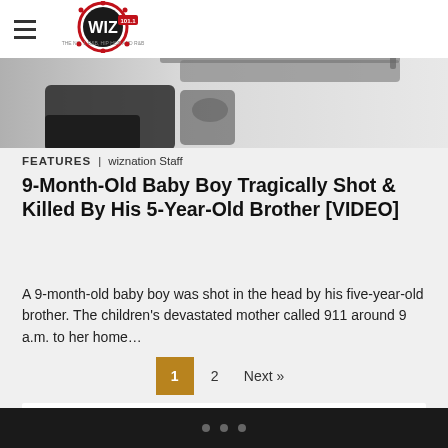[Figure (screenshot): Website header with hamburger menu and The Wiz 101.1 radio station logo on white background]
[Figure (photo): Close-up photo of a handgun against a light background]
FEATURES | wiznation Staff
9-Month-Old Baby Boy Tragically Shot & Killed By His 5-Year-Old Brother [VIDEO]
A 9-month-old baby boy was shot in the head by his five-year-old brother. The children's devastated mother called 911 around 9 a.m. to her home…
1  2  Next »
• • •